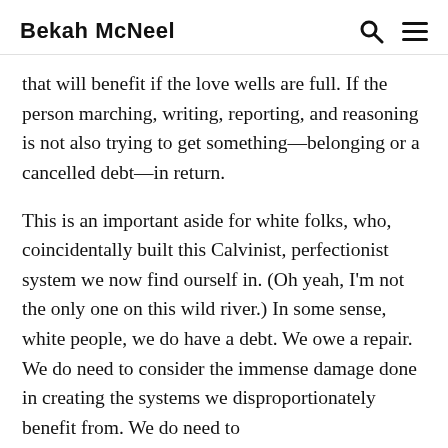Bekah McNeel
that will benefit if the love wells are full. If the person marching, writing, reporting, and reasoning is not also trying to get something—belonging or a cancelled debt—in return.
This is an important aside for white folks, who, coincidentally built this Calvinist, perfectionist system we now find ourself in. (Oh yeah, I'm not the only one on this wild river.) In some sense, white people, we do have a debt. We owe a repair. We do need to consider the immense damage done in creating the systems we disproportionately benefit from. We do need to